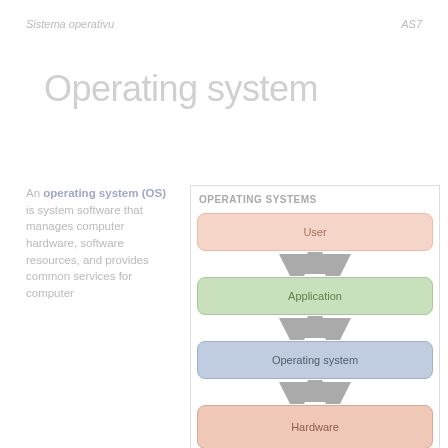Sistema operativu · AS7
Operating system
An operating system (OS) is system software that manages computer hardware, software resources, and provides common services for computer
[Figure (flowchart): Operating Systems layered diagram showing User, Application, Operating system, and Hardware stacked boxes with bidirectional arrows between each layer]